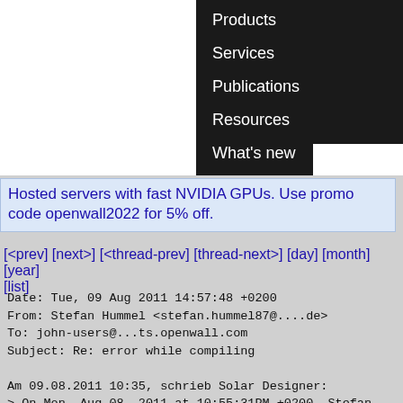[Figure (screenshot): Website navigation bar with white left panel and dark/black right panel containing menu links: Products, Services, Publications, Resources, What's new]
Hosted servers with fast NVIDIA GPUs. Use promo code openwall2022 for 5% off.
[<prev] [next>] [<thread-prev] [thread-next>] [day] [month] [year] [list]
Date:  Tue, 09 Aug 2011 14:57:48 +0200
From: Stefan Hummel <stefan.hummel87@....de>
To: john-users@...ts.openwall.com
Subject: Re: error while compiling

Am 09.08.2011 10:35, schrieb Solar Designer:
> On Mon, Aug 08, 2011 at 10:55:31PM +0200, Stefan Hummel wrote:
>>> On Mon, Aug 8, 2011 at 13:32, Stefan Hummel<stefan.hummel87@....de>   wrote:
>>>> gcc: libtool:: file or directory not found
>>>> gcc: link:: file or directory not found